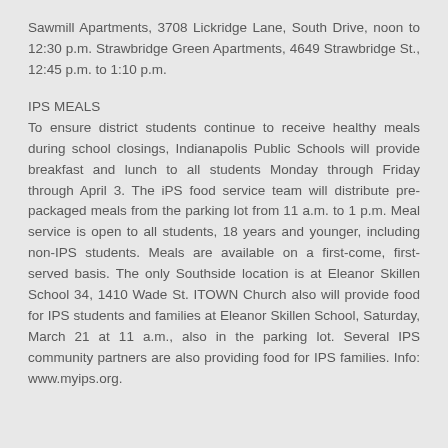Sawmill Apartments, 3708 Lickridge Lane, South Drive, noon to 12:30 p.m. Strawbridge Green Apartments, 4649 Strawbridge St., 12:45 p.m. to 1:10 p.m.
IPS MEALS
To ensure district students continue to receive healthy meals during school closings, Indianapolis Public Schools will provide breakfast and lunch to all students Monday through Friday through April 3. The iPS food service team will distribute pre-packaged meals from the parking lot from 11 a.m. to 1 p.m. Meal service is open to all students, 18 years and younger, including non-IPS students. Meals are available on a first-come, first-served basis. The only Southside location is at Eleanor Skillen School 34, 1410 Wade St. ITOWN Church also will provide food for IPS students and families at Eleanor Skillen School, Saturday, March 21 at 11 a.m., also in the parking lot. Several IPS community partners are also providing food for IPS families. Info: www.myips.org.